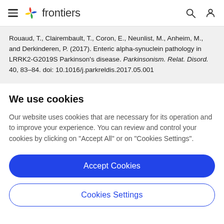frontiers
Rouaud, T., Clairembault, T., Coron, E., Neunlist, M., Anheim, M., and Derkinderen, P. (2017). Enteric alpha-synuclein pathology in LRRK2-G2019S Parkinson's disease. Parkinsonism. Relat. Disord. 40, 83–84. doi: 10.1016/j.parkreldis.2017.05.001
We use cookies
Our website uses cookies that are necessary for its operation and to improve your experience. You can review and control your cookies by clicking on "Accept All" or on "Cookies Settings".
Accept Cookies
Cookies Settings